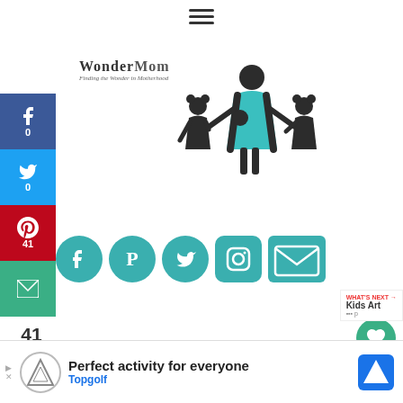[Figure (screenshot): WanderMom blog website screenshot showing logo with mother and children silhouettes, social share sidebar, social icons row, search box, and advertisement banner]
WanderMom — Finding the Wonder in Motherhood
[Figure (illustration): Silhouette illustration of a mother with three children in teal/dark colors]
[Figure (infographic): Social share sidebar with Facebook (0), Twitter (0), Pinterest (41), Email buttons; 41 SHARES total]
[Figure (logo): Social media icons row: Facebook, Pinterest, Twitter, Instagram, Email in teal]
41
SHARES
[Figure (screenshot): Search this website search box]
[Figure (screenshot): Heart button with 44 count and share button floating on right side]
[Figure (screenshot): WHAT'S NEXT → Kids Art section preview]
[Figure (screenshot): Advertisement banner: Perfect activity for everyone — Topgolf]